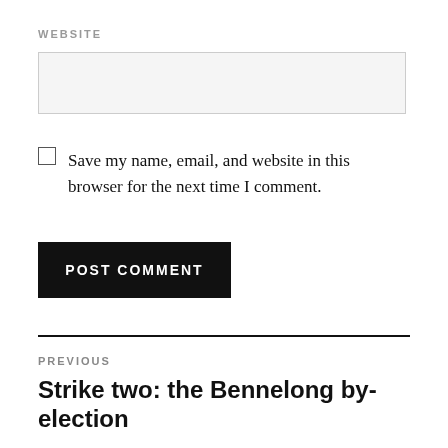WEBSITE
Save my name, email, and website in this browser for the next time I comment.
POST COMMENT
PREVIOUS
Strike two: the Bennelong by-election